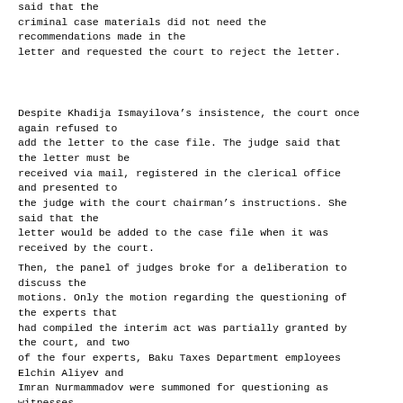said that the criminal case materials did not need the recommendations made in the letter and requested the court to reject the letter.
Despite Khadija Ismayilova’s insistence, the court once again refused to add the letter to the case file. The judge said that the letter must be received via mail, registered in the clerical office and presented to the judge with the court chairman’s instructions. She said that the letter would be added to the case file when it was received by the court.
Then, the panel of judges broke for a deliberation to discuss the motions. Only the motion regarding the questioning of the experts that had compiled the interim act was partially granted by the court, and two of the four experts, Baku Taxes Department employees Elchin Aliyev and Imran Nurmammadov were summoned for questioning as witnesses.